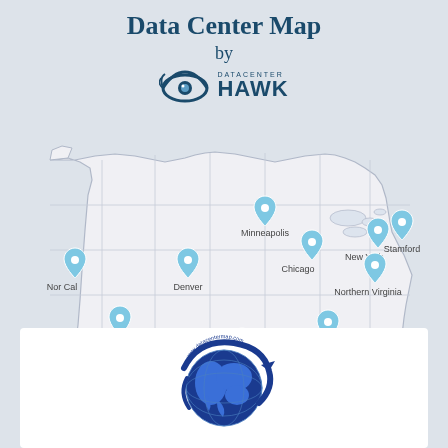Data Center Map
by
DATACENTER HAWK
[Figure (map): US map with data center location pins labeled: Nor Cal, Phoenix, Denver, Minneapolis, Chicago, New York, Stamford, Northern Virginia, Atlanta, Dallas]
[Figure (logo): Globe logo with blue world map and circular swoosh, partially cut off at bottom]